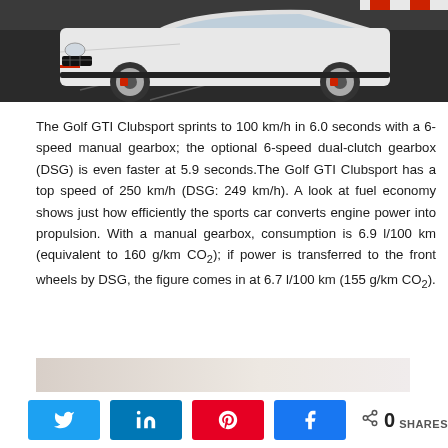[Figure (photo): White Volkswagen Golf GTI Clubsport on a racetrack, partially cropped showing front and side of the car]
The Golf GTI Clubsport sprints to 100 km/h in 6.0 seconds with a 6-speed manual gearbox; the optional 6-speed dual-clutch gearbox (DSG) is even faster at 5.9 seconds.The Golf GTI Clubsport has a top speed of 250 km/h (DSG: 249 km/h). A look at fuel economy shows just how efficiently the sports car converts engine power into propulsion. With a manual gearbox, consumption is 6.9 l/100 km (equivalent to 160 g/km CO₂); if power is transferred to the front wheels by DSG, the figure comes in at 6.7 l/100 km (155 g/km CO₂).
[Figure (photo): Partial bottom image, appears to be another car photo, mostly white/cream background]
0 SHARES